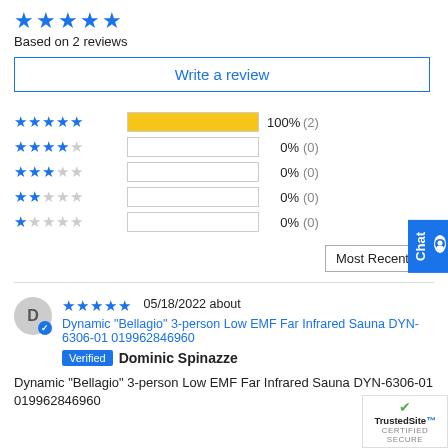[Figure (other): 5 filled blue stars rating display]
Based on 2 reviews
Write a review
[Figure (bar-chart): Rating distribution]
Most Recent
[Figure (other): 5 filled blue stars for review]
05/18/2022 about Dynamic "Bellagio" 3-person Low EMF Far Infrared Sauna DYN-6306-01 019962846960
Verified Dominic Spinazze
Dynamic "Bellagio" 3-person Low EMF Far Infrared Sauna DYN-6306-01 019962846960